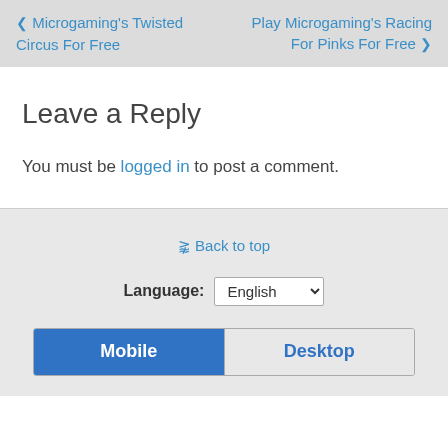‹ Microgaming's Twisted Circus For Free   Play Microgaming's Racing For Pinks For Free ›
Leave a Reply
You must be logged in to post a comment.
☆ Back to top  Language: English [dropdown]  Mobile | Desktop